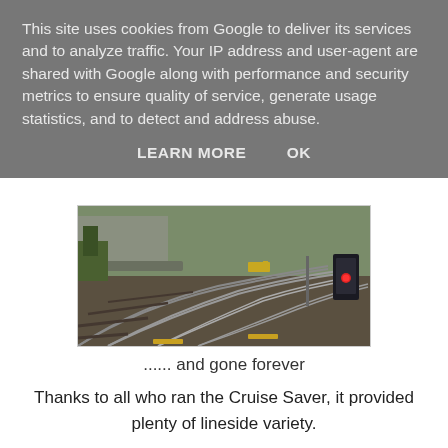This site uses cookies from Google to deliver its services and to analyze traffic. Your IP address and user-agent are shared with Google along with performance and security metrics to ensure quality of service, generate usage statistics, and to detect and address abuse.
LEARN MORE    OK
[Figure (photo): Aerial view of multiple railway tracks curving through an urban area, with a bridge overpass, a yellow train in the distance, and a signal box showing a red light on the right side.]
...... and gone forever
Thanks to all who ran the Cruise Saver, it provided plenty of lineside variety.
Update 16th December - more pictures: Bevois Park (Up Yard) - Burton - Derby - Wakefield Westgate - Leeds - Newcastle - Edinburgh - ECS - Southampton Solids (d...